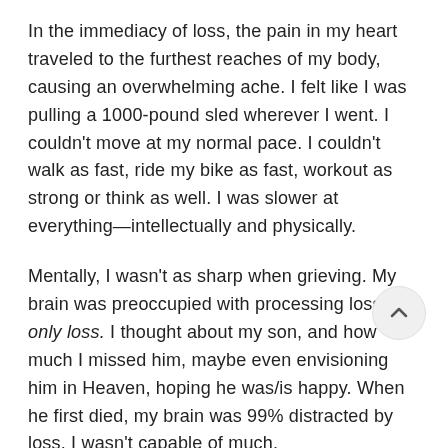In the immediacy of loss, the pain in my heart traveled to the furthest reaches of my body, causing an overwhelming ache. I felt like I was pulling a 1000-pound sled wherever I went. I couldn't move at my normal pace. I couldn't walk as fast, ride my bike as fast, workout as strong or think as well. I was slower at everything—intellectually and physically.
Mentally, I wasn't as sharp when grieving. My brain was preoccupied with processing loss and only loss. I thought about my son, and how much I missed him, maybe even envisioning him in Heaven, hoping he was/is happy. When he first died, my brain was 99% distracted by loss. I wasn't capable of much.
To this day, a large chunk of my heart is still missing. This manifests as sadness and tears at unpredictable moments. I might cry over something considered mildly